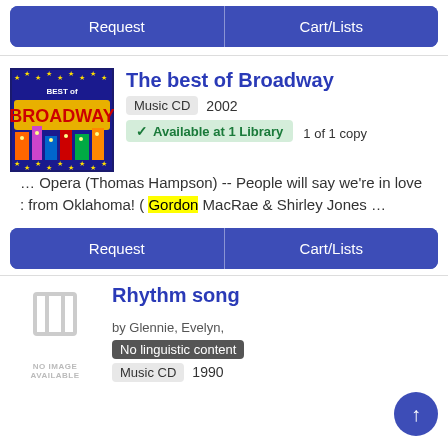Request | Cart/Lists
The best of Broadway
Music CD  2002
Available at 1 Library  1 of 1 copy
… Opera (Thomas Hampson) -- People will say we're in love : from Oklahoma! ( Gordon MacRae & Shirley Jones …
Request | Cart/Lists
Rhythm song
by Glennie, Evelyn,
No linguistic content
Music CD  1990